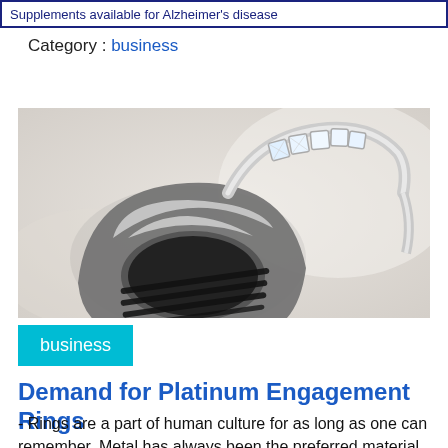Supplements available for Alzheimer's disease
Category : business
[Figure (photo): Close-up photo of two platinum/silver rings — one wide striped band and one diamond-studded ring — resting on a light surface.]
business
Demand for Platinum Engagement Rings
- Rings are a part of human culture for as long as one can remember. Metal has always been the preferred material for making rings.